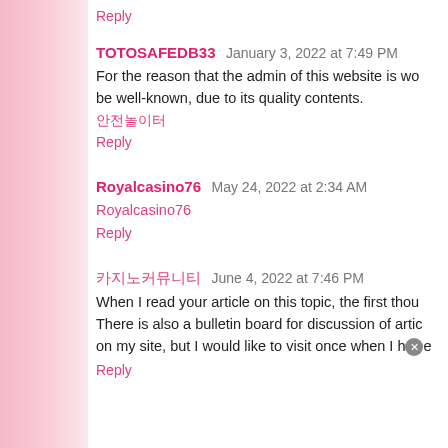Reply
TOTOSAFEDB33  January 3, 2022 at 7:49 PM
For the reason that the admin of this website is working, no uncertainty very soon it will be well-known, due to its quality contents.
안전놀이터
Reply
Royalcasino76  May 24, 2022 at 2:34 AM
Royalcasino76
Reply
카지노커뮤니티  June 4, 2022 at 7:46 PM
When I read your article on this topic, the first thought seems profound and difficult. There is also a bulletin board for discussion of articles and photos as a is mentioned on my site, but I would like to visit once when I have time...
Reply